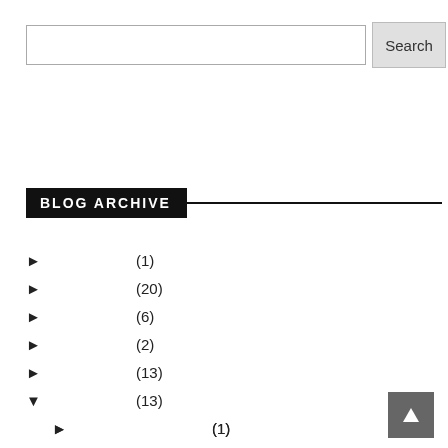[Figure (screenshot): Search input box and Search button]
BLOG ARCHIVE
► (1)
► (20)
► (6)
► (2)
► (13)
▼ (13)
► (1)
▼ (2)